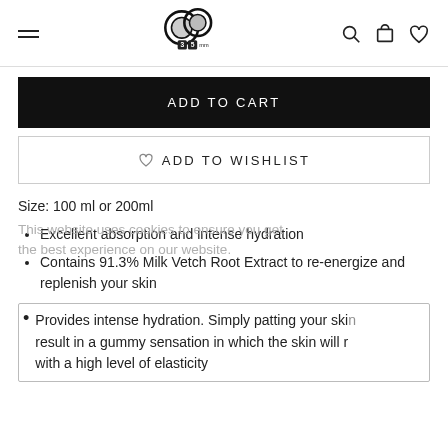35mm website header with hamburger menu, logo, search, cart, and wishlist icons
ADD TO CART
ADD TO WISHLIST
Size: 100 ml or 200ml
This website uses cookies to ensure you get the best experience on our website.
Excellent absorption and intense hydration
Contains 91.3% Milk Vetch Root Extract to re-energize and replenish your skin
Provides intense hydration. Simply patting your skin result in a gummy sensation in which the skin will r with a high level of elasticity